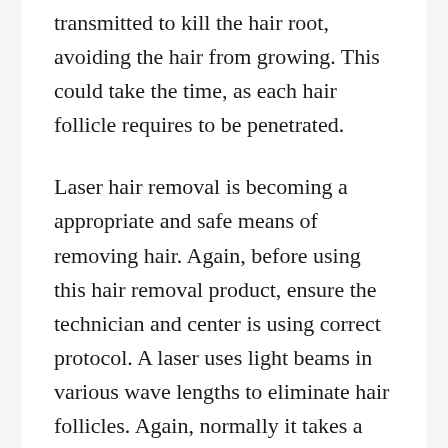transmitted to kill the hair root, avoiding the hair from growing. This could take the time, as each hair follicle requires to be penetrated.
Laser hair removal is becoming a appropriate and safe means of removing hair. Again, before using this hair removal product, ensure the technician and center is using correct protocol. A laser uses light beams in various wave lengths to eliminate hair follicles. Again, normally it takes a few months to get the specified effect, and may be costly.
Hair removal products may be used in